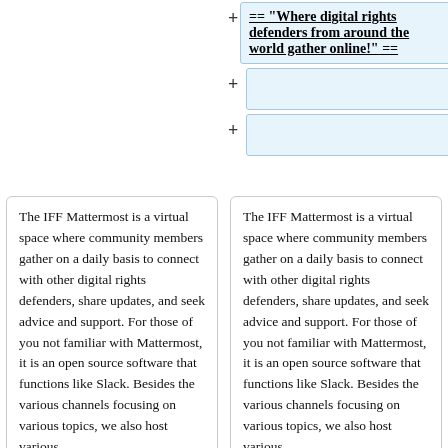== "Where digital rights defenders from around the world gather online!" ==
The IFF Mattermost is a virtual space where community members gather on a daily basis to connect with other digital rights defenders, share updates, and seek advice and support. For those of you not familiar with Mattermost, it is an open source software that functions like Slack. Besides the various channels focusing on various topics, we also host various
The IFF Mattermost is a virtual space where community members gather on a daily basis to connect with other digital rights defenders, share updates, and seek advice and support. For those of you not familiar with Mattermost, it is an open source software that functions like Slack. Besides the various channels focusing on various topics, we also host various